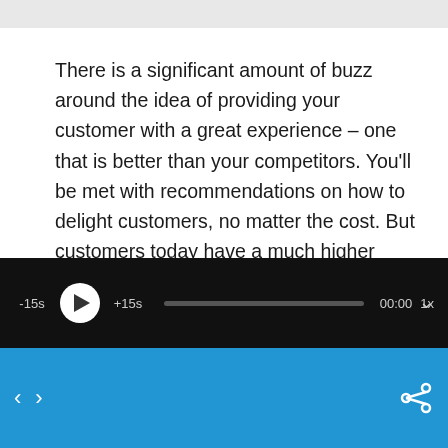There is a significant amount of buzz around the idea of providing your customer with a great experience – one that is better than your competitors. You'll be met with recommendations on how to delight customers, no matter the cost. But customers today have a much higher expectation than customers from yesterday, which leaves brands needing to stand out against their competitors. So how do businesses create WOW
[Figure (other): Audio/podcast player bar with black background showing: -15s skip back button, play button (white circle with triangle), +15s skip forward button, progress bar, 00:00 timestamp, 1x speed. Below is a blue navigation bar with left/right arrows and a share icon.]